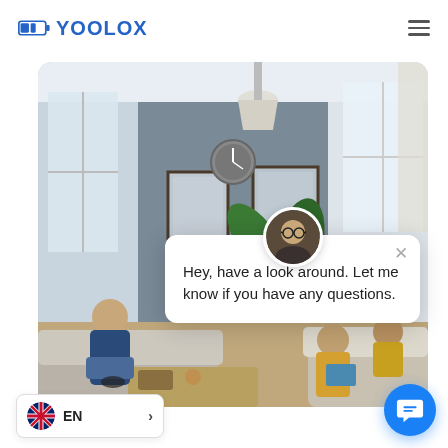YOOLOX
[Figure (screenshot): Interior living room photo showing people relaxing on sofas, a large plant, wall clock, framed pictures on a grey accent wall, and bright windows]
[Figure (infographic): Chat popup with avatar photo of a person with glasses, close button (x), and message: Hey, have a look around. Let me know if you have any questions.]
Hey, have a look around. Let me know if you have any questions.
[Figure (other): Language selector showing UK flag, EN text, and a right arrow chevron]
[Figure (other): Blue circular chat button with chat bubble icon]